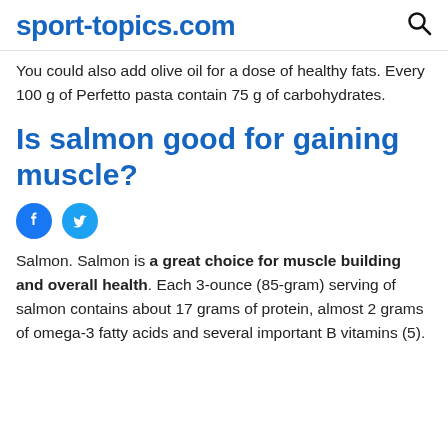sport-topics.com
You could also add olive oil for a dose of healthy fats. Every 100 g of Perfetto pasta contain 75 g of carbohydrates.
Is salmon good for gaining muscle?
[Figure (illustration): Facebook and Twitter social share icons]
Salmon. Salmon is a great choice for muscle building and overall health. Each 3-ounce (85-gram) serving of salmon contains about 17 grams of protein, almost 2 grams of omega-3 fatty acids and several important B vitamins (5).